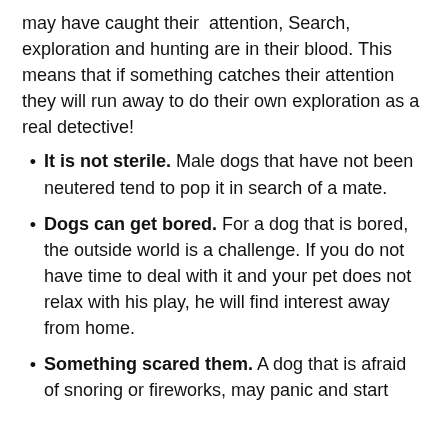may have caught their attention, Search, exploration and hunting are in their blood. This means that if something catches their attention they will run away to do their own exploration as a real detective!
It is not sterile. Male dogs that have not been neutered tend to pop it in search of a mate.
Dogs can get bored. For a dog that is bored, the outside world is a challenge. If you do not have time to deal with it and your pet does not relax with his play, he will find interest away from home.
Something scared them. A dog that is afraid of snoring or fireworks, may panic and start